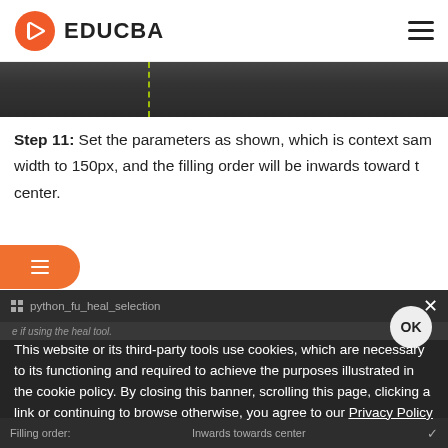EDUCBA
[Figure (screenshot): Dark screenshot strip showing part of an image editor interface with a dashed yellow-green vertical line]
Step 11: Set the parameters as shown, which is context same width to 150px, and the filling order will be inwards toward the center.
[Figure (screenshot): Dark UI panel showing python_fu_heal_selection script dialog with cookie consent overlay and OK button. Cookie text: This website or its third-party tools use cookies, which are necessary to its functioning and required to achieve the purposes illustrated in the cookie policy. By closing this banner, scrolling this page, clicking a link or continuing to browse otherwise, you agree to our Privacy Policy. Bottom bar shows: Filling order: Inwards towards center]